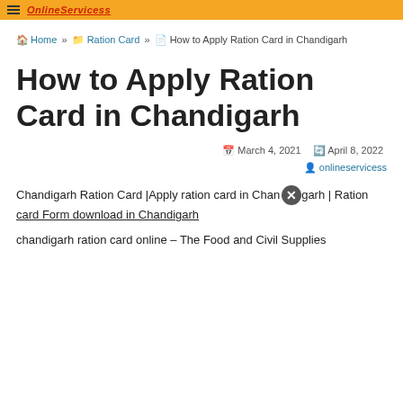OnlineServicess
Home » Ration Card » How to Apply Ration Card in Chandigarh
How to Apply Ration Card in Chandigarh
March 4, 2021  April 8, 2022
onlineservicess
Chandigarh Ration Card |Apply ration card in Chandigarh | Ration card Form download in Chandigarh
chandigarh ration card online – The Food and Civil Supplies